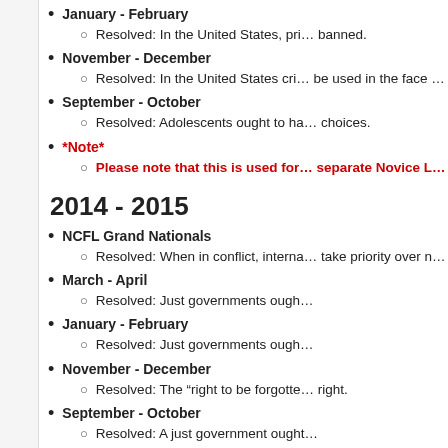January - February
Resolved: In the United States, pri... banned.
November - December
Resolved: In the United States cri... be used in the face of perceived in...
September - October
Resolved: Adolescents ought to ha... choices.
*Note*
Please note that this is used for... separate Novice LD topic.
2014 - 2015
NCFL Grand Nationals
Resolved: When in conflict, interna... take priority over national interests...
March - April
Resolved: Just governments ough...
January - February
Resolved: Just governments ough...
November - December
Resolved: The "right to be forgotte... right.
September - October
Resolved: A just government ought...